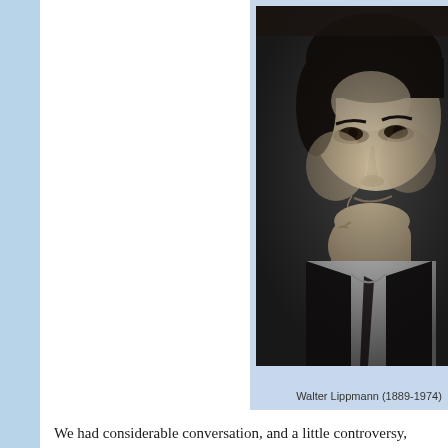[Figure (photo): Black and white portrait photograph of Walter Lippmann, a man in a suit resting his chin on his hand, looking at the camera with a slight smile.]
Walter Lippmann (1889-1974)
We had considerable conversation, and a little controversy,